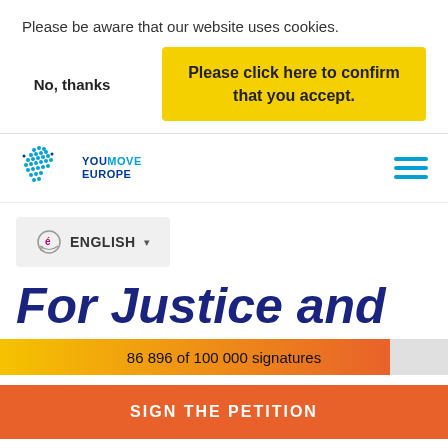Please be aware that our website uses cookies.
No, thanks
Please click here to confirm that you accept.
[Figure (logo): YouMove Europe logo with EU stars graphic and teal text]
[Figure (other): Hamburger menu icon with three teal horizontal lines]
ENGLISH ▾
For Justice and
86 896 of 100 000 signatures
SIGN THE PETITION